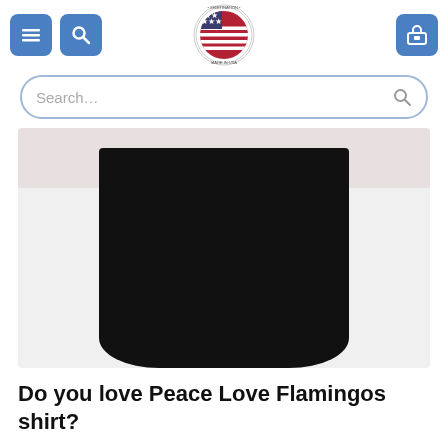[Figure (screenshot): E-commerce website screenshot showing navigation bar with hamburger menu, search icon, US flag logo, and shopping cart button]
[Figure (photo): Product photo of a black t-shirt displayed on white background, showing the lower half/body of the shirt]
Do you love Peace Love Flamingos shirt?